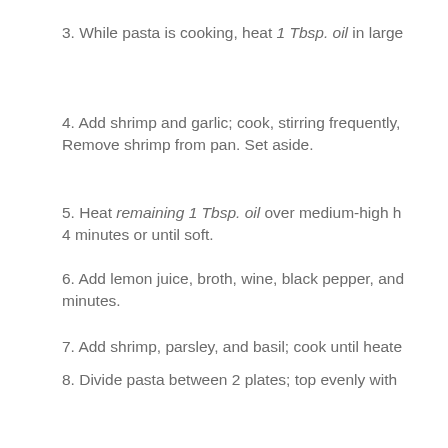3. While pasta is cooking, heat 1 Tbsp. oil in large
4. Add shrimp and garlic; cook, stirring frequently, Remove shrimp from pan. Set aside.
5. Heat remaining 1 Tbsp. oil over medium-high h 4 minutes or until soft.
6. Add lemon juice, broth, wine, black pepper, and minutes.
7. Add shrimp, parsley, and basil; cook until heate
8. Divide pasta between 2 plates; top evenly with